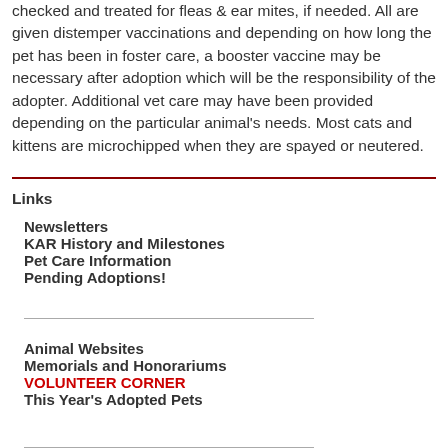checked and treated for fleas & ear mites, if needed. All are given distemper vaccinations and depending on how long the pet has been in foster care, a booster vaccine may be necessary after adoption which will be the responsibility of the adopter. Additional vet care may have been provided depending on the particular animal's needs. Most cats and kittens are microchipped when they are spayed or neutered.
Links
Newsletters
KAR History and Milestones
Pet Care Information
Pending Adoptions!
Animal Websites
Memorials and Honorariums
VOLUNTEER CORNER
This Year's Adopted Pets